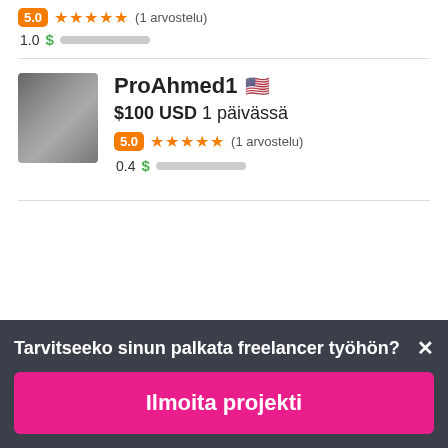5.0 ★★★★★ (1 arvostelu)
1.0 $ [bar]
[Figure (photo): Avatar photo of freelancer ProAhmed1]
ProAhmed1 🇺🇸
$100 USD 1 päivässä
5.0 ★★★★★ (1 arvostelu)
0.4 $ [bar]
Tarvitseeko sinun palkata freelancer työhön?
Ilmoita projekti